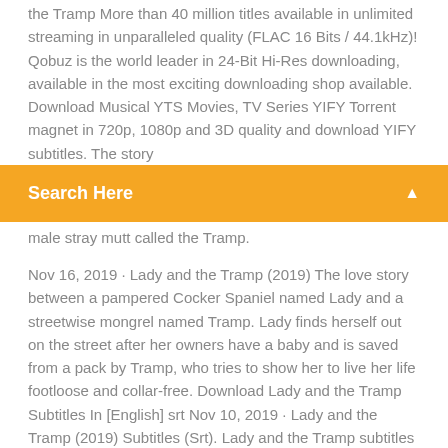the Tramp More than 40 million titles available in unlimited streaming in unparalleled quality (FLAC 16 Bits / 44.1kHz)! Qobuz is the world leader in 24-Bit Hi-Res downloading, available in the most exciting downloading shop available. Download Musical YTS Movies, TV Series YIFY Torrent magnet in 720p, 1080p and 3D quality and download YIFY subtitles. The story
Search Here
male stray mutt called the Tramp.
Nov 16, 2019 · Lady and the Tramp (2019) The love story between a pampered Cocker Spaniel named Lady and a streetwise mongrel named Tramp. Lady finds herself out on the street after her owners have a baby and is saved from a pack by Tramp, who tries to show her to live her life footloose and collar-free. Download Lady and the Tramp Subtitles In [English] srt Nov 10, 2019 · Lady and the Tramp (2019) Subtitles (Srt). Lady and the Tramp subtitles Lady and the Tramp (2019)